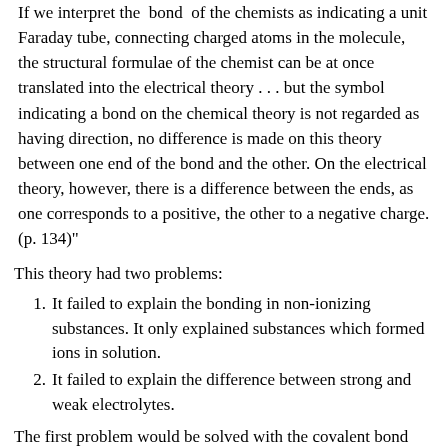If we interpret the "bond" of the chemists as indicating a unit Faraday tube, connecting charged atoms in the molecule, the structural formulae of the chemist can be at once translated into the electrical theory . . . but the symbol indicating a bond on the chemical theory is not regarded as having direction, no difference is made on this theory between one end of the bond and the other. On the electrical theory, however, there is a difference between the ends, as one corresponds to a positive, the other to a negative charge. (p. 134)"
This theory had two problems:
It failed to explain the bonding in non-ionizing substances. It only explained substances which formed ions in solution.
It failed to explain the difference between strong and weak electrolytes.
The first problem would be solved with the covalent bond and the second when it was realized that strong electrolytes ionize 100% in solution.
Which elements form ionic bonds?
Return to Bonding menu